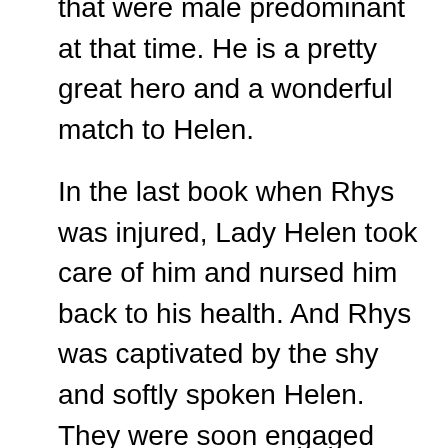of his time in having females in his employ for jobs that were male predominant at that time. He is a pretty great hero and a wonderful match to Helen.
In the last book when Rhys was injured, Lady Helen took care of him and nursed him back to his health. And Rhys was captivated by the shy and softly spoken Helen. They were soon engaged after few weeks of courtship due to the machinations of Helen's cousin and a kiss which left the naive Helen shocked. But due to machination of said cousins wife/her sister-in-law Kathleen dissolves their engagement much to the disappointment/hurt on Helen's part and anger/hurt on Rhys part. Rhys thinks that Helen didn't want to marry him because he was a common born, came to her senses and he is pretty growly and miserable at the start of the